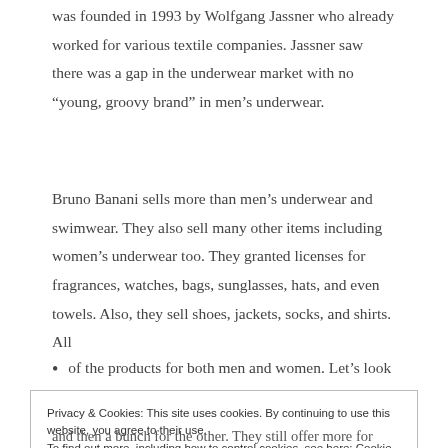was founded in 1993 by Wolfgang Jassner who already worked for various textile companies. Jassner saw there was a gap in the underwear market with no “young, groovy brand” in men’s underwear.
Bruno Banani sells more than men’s underwear and swimwear. They also sell many other items including women’s underwear too. They granted licenses for fragrances, watches, bags, sunglasses, hats, and even towels. Also, they sell shoes, jackets, socks, and shirts. All
of the products for both men and women. Let’s look at the
Privacy & Cookies: This site uses cookies. By continuing to use this website, you agree to their use.
To find out more, including how to control cookies, see here: Cookie Policy
Close and accept
and then a bunch for the other. They still offer more for